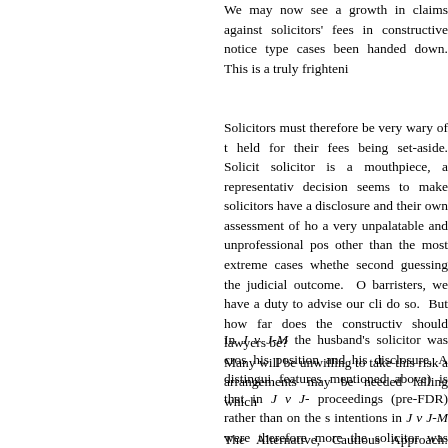We may now see a growth in claims against solicitors' fees in constructive notice type cases been handed down. This is a truly frighteni
Solicitors must therefore be very wary of the held for their fees being set-aside. Solicitors solicitor is a mouthpiece, a representative decision seems to make solicitors have a disclosure and their own assessment of how a very unpalatable and unprofessional pos other than the most extreme cases whether second guessing the judicial outcome. Of barristers, we have a duty to advise our cli do so. But how far does the constructive should lawyers be? Many will be unwilling to take this risk a arrangements may be needed failing which
In J v J-M the husband's solicitor was cro his position and his disclosure. A distingui features mentioned above) is that in J v J- proceedings (pre-FDR) rather than on the s intentions in J v J-M were therefore more the solicitor was less likely to perceive th cross-examined in such a way and the solicitors' perception of their client as an not run contrary to our professional duties t
The Alternative, Cautious Approach: Sinki